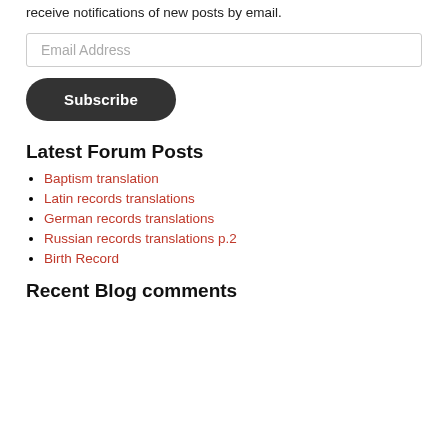receive notifications of new posts by email.
Email Address
Subscribe
Latest Forum Posts
Baptism translation
Latin records translations
German records translations
Russian records translations p.2
Birth Record
Recent Blog comments